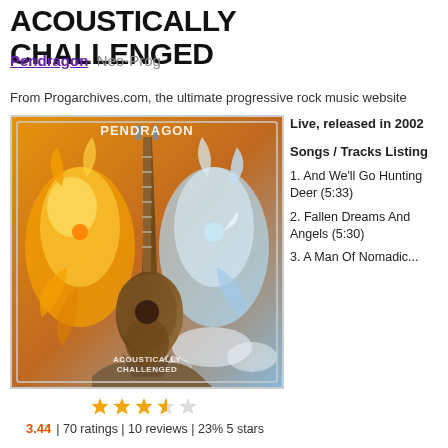ACOUSTICALLY CHALLENGED
Pendragon · Neo-Prog
From Progarchives.com, the ultimate progressive rock music website
[Figure (photo): Album cover art for Acoustically Challenged by Pendragon, showing a guitar made of rock with fire and ice elemental figures on either side, with PENDRAGON text at top and ACOUSTICALLY CHALLENGED at bottom]
3.44 | 70 ratings | 10 reviews | 23% 5 stars
Live, released in 2002
Songs / Tracks Listing
1. And We'll Go Hunting Deer (5:33)
2. Fallen Dreams And Angels (5:30)
3. A Man Of Nomadic...